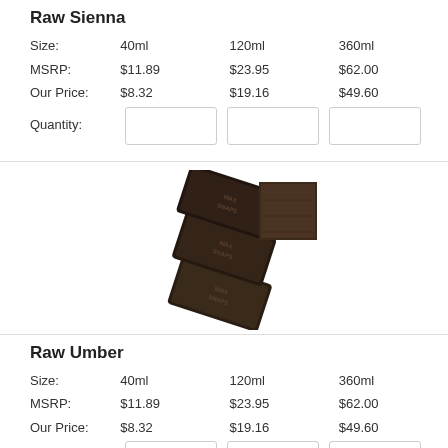Raw Sienna
|  | 40ml | 120ml | 360ml |
| --- | --- | --- | --- |
| Size: | 40ml | 120ml | 360ml |
| MSRP: | $11.89 | $23.95 | $62.00 |
| Our Price: | $8.32 | $19.16 | $49.60 |
| Quantity: |  |  |  |
[Figure (photo): Wax Snaps dark brown encaustic wax bar product photo with dark brown color swatch]
Raw Umber
|  | 40ml | 120ml | 360ml |
| --- | --- | --- | --- |
| Size: | 40ml | 120ml | 360ml |
| MSRP: | $11.89 | $23.95 | $62.00 |
| Our Price: | $8.32 | $19.16 | $49.60 |
| Quantity: |  |  |  |
[Figure (photo): Partial bottom section showing another product with warm/peach color swatch]